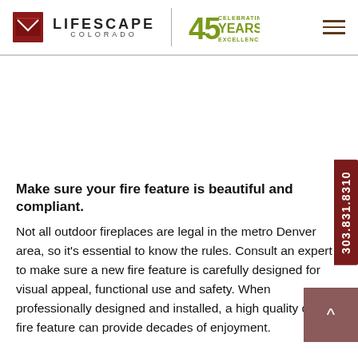[Figure (logo): Lifescape Colorado logo with red envelope icon and '45 Years Celebrating Excellence' badge]
Make sure your fire feature is beautiful and compliant.
Not all outdoor fireplaces are legal in the metro Denver area, so it's essential to know the rules. Consult an expert to make sure a new fire feature is carefully designed for visual appeal, functional use and safety. When professionally designed and installed, a high quality custom fire feature can provide decades of enjoyment.